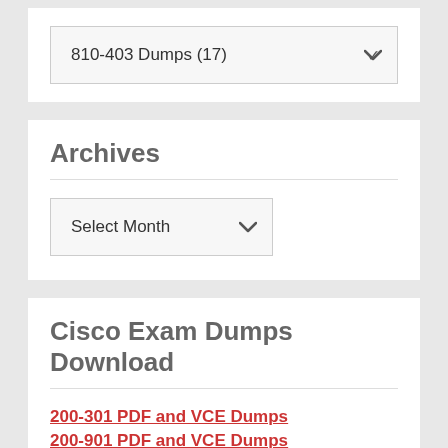[Figure (screenshot): Dropdown selector showing '810-403 Dumps (17)' with a chevron arrow]
Archives
[Figure (screenshot): Dropdown selector showing 'Select Month' with a chevron arrow]
Cisco Exam Dumps Download
200-301 PDF and VCE Dumps
200-901 PDF and VCE Dumps
350-901 PDF and VCE Dumps